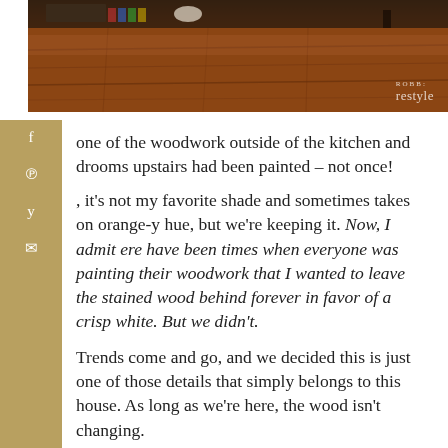[Figure (photo): Photo of hardwood floor with warm reddish-brown tones, a coffee table leg visible, and books stacked in the upper left. Watermark reads 'restyle' in lower right.]
one of the woodwork outside of the kitchen and drooms upstairs had been painted – not once!
, it's not my favorite shade and sometimes takes on orange-y hue, but we're keeping it. Now, I admit ere have been times when everyone was painting their woodwork that I wanted to leave the stained wood behind forever in favor of a crisp white. But we didn't.
Trends come and go, and we decided this is just one of those details that simply belongs to this house. As long as we're here, the wood isn't changing.